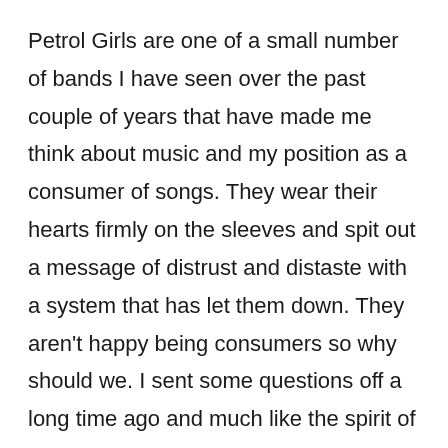Petrol Girls are one of a small number of bands I have seen over the past couple of years that have made me think about music and my position as a consumer of songs. They wear their hearts firmly on the sleeves and spit out a message of distrust and distaste with a system that has let them down. They aren't happy being consumers so why should we. I sent some questions off a long time ago and much like the spirit of Crass and such bands I got my reply, eventually. They get a lot of requests.

They have a new record out now and I would